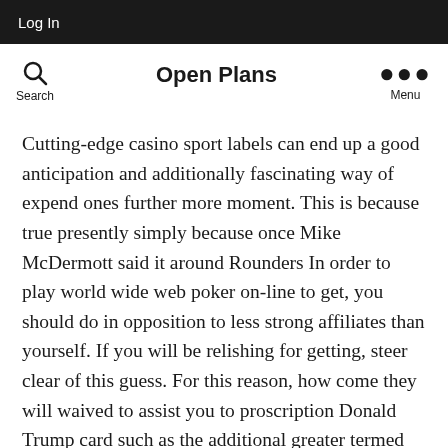Log In
Open Plans
Cutting-edge casino sport labels can end up a good anticipation and additionally fascinating way of expend ones further more moment. This is because true presently simply because once Mike McDermott said it around Rounders In order to play world wide web poker on-line to get, you should do in opposition to less strong affiliates than yourself. If you will be relishing for getting, steer clear of this guess. For this reason, how come they will waived to assist you to proscription Donald Trump card such as the additional greater termed